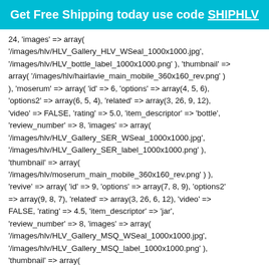Get Free Shipping today use code SHIPHLV
24, 'images' => array( '/images/hlv/HLV_Gallery_HLV_WSeal_1000x1000.jpg', '/images/hlv/HLV_bottle_label_1000x1000.png' ), 'thumbnail' => array( '/images/hlv/hairlavie_main_mobile_360x160_rev.png' ) ), 'moserum' => array( 'id' => 6, 'options' => array(4, 5, 6), 'options2' => array(6, 5, 4), 'related' => array(3, 26, 9, 12), 'video' => FALSE, 'rating' => 5.0, 'item_descriptor' => 'bottle', 'review_number' => 8, 'images' => array( '/images/hlv/HLV_Gallery_SER_WSeal_1000x1000.jpg', '/images/hlv/HLV_Gallery_SER_label_1000x1000.png' ), 'thumbnail' => array( '/images/hlv/moserum_main_mobile_360x160_rev.png' ) ), 'revive' => array( 'id' => 9, 'options' => array(7, 8, 9), 'options2' => array(9, 8, 7), 'related' => array(3, 26, 6, 12), 'video' => FALSE, 'rating' => 4.5, 'item_descriptor' => 'jar', 'review_number' => 8, 'images' => array( '/images/hlv/HLV_Gallery_MSQ_WSeal_1000x1000.jpg', '/images/hlv/HLV_Gallery_MSQ_label_1000x1000.png' ), 'thumbnail' => array( '/images/hlv/hairlavie_revive_mobile_360x160.png' ) ), 'moroccanoil' => array( 'id' => 12, 'options' => array(10, 11, 12), 'options2' => array(12, 11, 10), 'related' => array(3, 26, 6, 9), 'video' => FALSE, 'rating' => 4.5, 'item_descriptor' =>